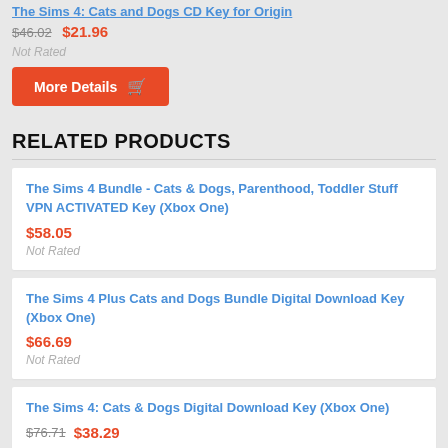The Sims 4: Cats and Dogs CD Key for Origin
$46.02 $21.96
Not Rated
More Details
RELATED PRODUCTS
The Sims 4 Bundle - Cats & Dogs, Parenthood, Toddler Stuff VPN ACTIVATED Key (Xbox One)
$58.05
Not Rated
The Sims 4 Plus Cats and Dogs Bundle Digital Download Key (Xbox One)
$66.69
Not Rated
The Sims 4: Cats & Dogs Digital Download Key (Xbox One)
$76.71 $38.29